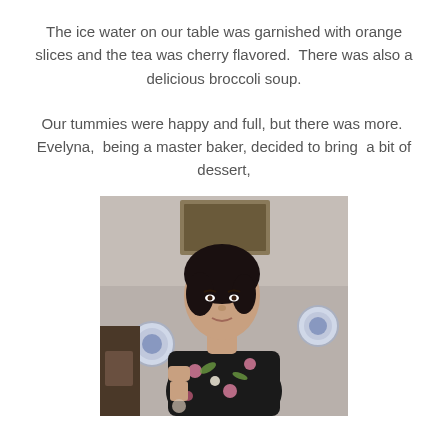The ice water on our table was garnished with orange slices and the tea was cherry flavored.  There was also a delicious broccoli soup.
Our tummies were happy and full, but there was more.  Evelyna,  being a master baker, decided to bring  a bit of dessert,
[Figure (photo): A woman with short dark hair wearing a black floral dress (flowers in pink and white/yellow), standing indoors in front of a wall with decorative plates. She appears to be holding something in her hand. The room has wooden furniture visible in the background.]